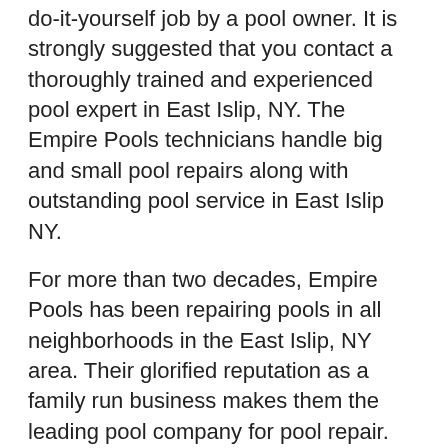do-it-yourself job by a pool owner. It is strongly suggested that you contact a thoroughly trained and experienced pool expert in East Islip, NY. The Empire Pools technicians handle big and small pool repairs along with outstanding pool service in East Islip NY.
For more than two decades, Empire Pools has been repairing pools in all neighborhoods in the East Islip, NY area. Their glorified reputation as a family run business makes them the leading pool company for pool repair. Call 631-212-9520 today to schedule your repair or free consultation for weekly pool cleaning in Suffolk County.
Some information about East